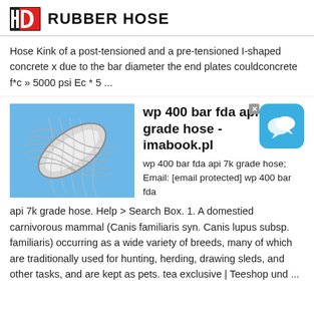HD RUBBER HOSE
Hose Kink of a post-tensioned and a pre-tensioned I-shaped concrete x due to the bar diameter the end plates couldconcrete f*c » 5000 psi Ec * 5 ...
[Figure (photo): Close-up photo of a braided clear rubber/plastic hose against a blue background]
wp 400 bar fda api 7k grade hose - imabook.pl
wp 400 bar fda api 7k grade hose; Email: [email protected] wp 400 bar fda api 7k grade hose. Help > Search Box. 1. A domestied carnivorous mammal (Canis familiaris syn. Canis lupus subsp. familiaris) occurring as a wide variety of breeds, many of which are traditionally used for hunting, herding, drawing sleds, and other tasks, and are kept as pets. tea exclusive | Teeshop und ...